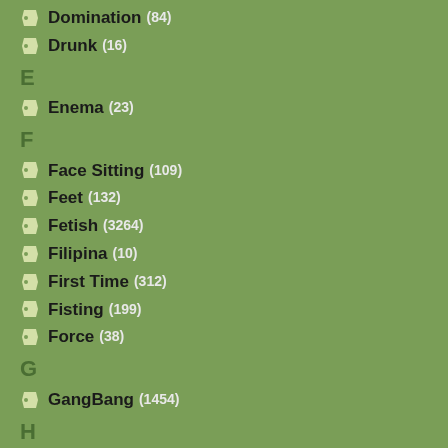Domination (84)
Drunk (16)
E
Enema (23)
F
Face Sitting (109)
Feet (132)
Fetish (3264)
Filipina (10)
First Time (312)
Fisting (199)
Force (38)
G
GangBang (1454)
H
HD (1998)
Hairy (5794)